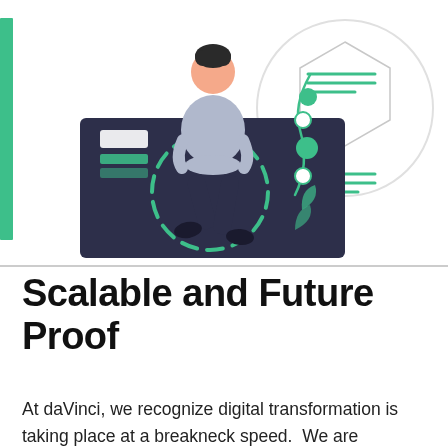[Figure (illustration): A flat-style illustration showing a person (with dark hair, light grey top, dark trousers) sitting on top of a dark navy panel that contains a dashed green circle (clock/wheel motif) and UI card elements. A green vine with circular dots grows from the panel. To the right, a light bulb outline with a hexagonal shape and green line-graph elements is shown. A green vertical bar appears on the left edge.]
Scalable and Future Proof
At daVinci, we recognize digital transformation is taking place at a breakneck speed.  We are constantly